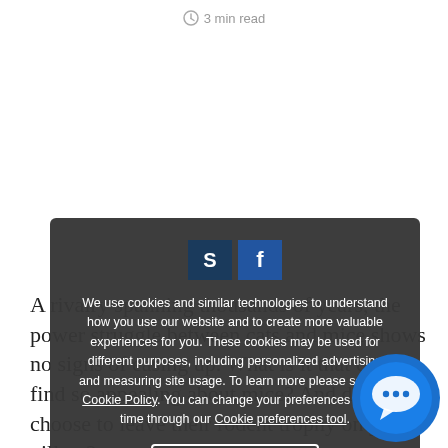3 min read
A rivalry spanning thousands of years, the power struggle between cats and mice shows no signs of easing up. What is it that cats find so appealing about mice? And do they choose to leave their rodent trophy on your pillow?
[Figure (screenshot): Cookie consent overlay modal with dark grey background containing cookie policy text, a Cookie Policy link, a Cookie preferences tool link, and an Accept button. Social share icons (S and f) visible at top of overlay.]
[Figure (illustration): Blue circular chat bubble / messenger icon in bottom right corner]